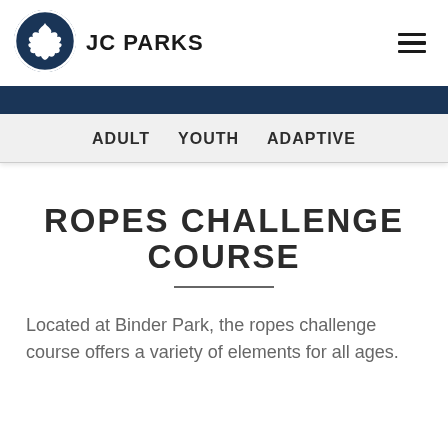[Figure (logo): JC Parks logo: dark navy circle with white oak leaf inside, next to bold text 'JC PARKS']
JC PARKS
ADULT   YOUTH   ADAPTIVE
ROPES CHALLENGE COURSE
Located at Binder Park, the ropes challenge course offers a variety of elements for all ages.